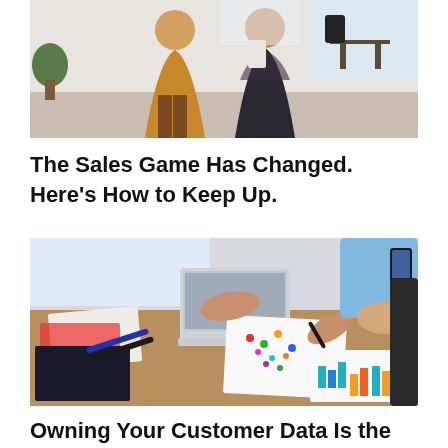[Figure (photo): Two women standing in an office/lounge space, one wearing a tan/mustard outfit and one in dark patterned clothing, bright interior with chairs and tables in background]
The Sales Game Has Changed. Here’s How to Keep Up.
[Figure (photo): Business team working around a wooden table with laptops, papers, charts and colorful printed data sheets; hands visible pointing and writing on documents]
Owning Your Customer Data Is the Key to